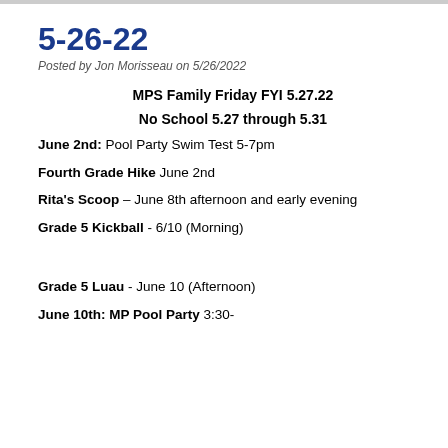5-26-22
Posted by Jon Morisseau on 5/26/2022
MPS Family Friday FYI 5.27.22
No School 5.27 through 5.31
June 2nd: Pool Party Swim Test 5-7pm
Fourth Grade Hike June 2nd
Rita's Scoop – June 8th afternoon and early evening
Grade 5 Kickball - 6/10 (Morning)
Grade 5 Luau - June 10 (Afternoon)
June 10th: MP Pool Party 3:30-